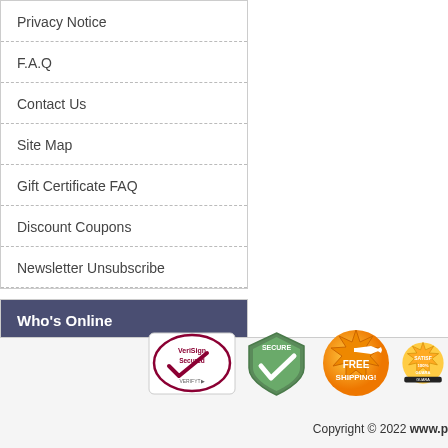Privacy Notice
F.A.Q
Contact Us
Site Map
Gift Certificate FAQ
Discount Coupons
Newsletter Unsubscribe
Who's Online
There currently are 4 guests and 1 member online.
[Figure (infographic): Trust badges: VeriSign Secured, Secure checkmark shield, Free Shipping badge, Satisfaction guarantee badge]
Copyright © 2022 www.p